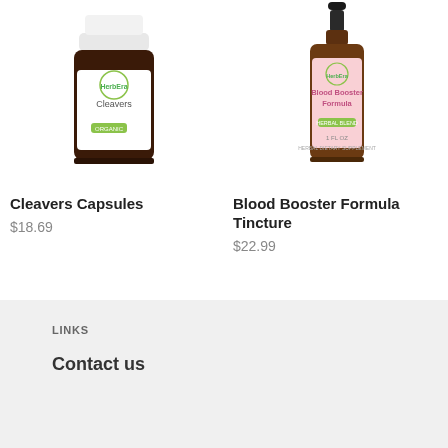[Figure (photo): HerbEra Cleavers Capsules supplement bottle with white cap]
Cleavers Capsules
$18.69
[Figure (photo): HerbEra Blood Booster Formula Tincture amber dropper bottle with pink label]
Blood Booster Formula Tincture
$22.99
LINKS
Contact us